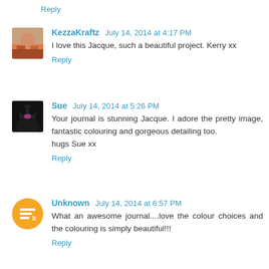Reply
KezzaKraftz July 14, 2014 at 4:17 PM
I love this Jacque, such a beautiful project. Kerry xx
Reply
Sue July 14, 2014 at 5:26 PM
Your journal is stunning Jacque. I adore the pretty image, fantastic colouring and gorgeous detailing too.
hugs Sue xx
Reply
Unknown July 14, 2014 at 6:57 PM
What an awesome journal....love the colour choices and the colouring is simply beautiful!!!
Reply